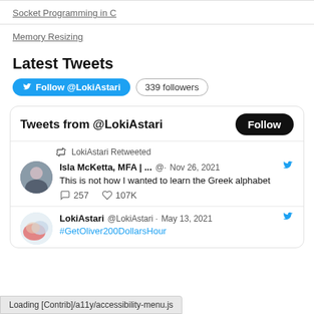Socket Programming in C
Memory Resizing
Latest Tweets
Follow @LokiAstari  339 followers
[Figure (screenshot): Embedded Twitter widget showing tweets from @LokiAstari. Includes a retweet from Isla McKetta, MFA | ... on Nov 26, 2021: 'This is not how I wanted to learn the Greek alphabet' with 257 comments and 107K likes. Also shows a tweet from LokiAstari @LokiAstari on May 13, 2021 with #GetOliver200DollarsHour.]
Loading [Contrib]/a11y/accessibility-menu.js